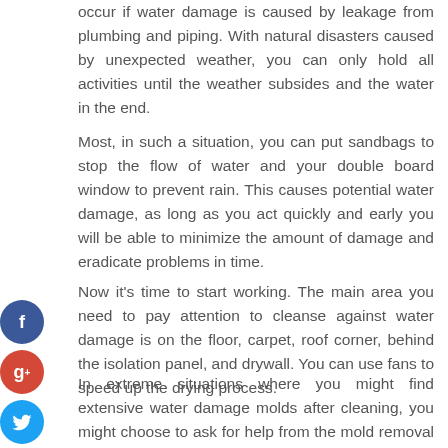occur if water damage is caused by leakage from plumbing and piping. With natural disasters caused by unexpected weather, you can only hold all activities until the weather subsides and the water in the end.
Most, in such a situation, you can put sandbags to stop the flow of water and your double board window to prevent rain. This causes potential water damage, as long as you act quickly and early you will be able to minimize the amount of damage and eradicate problems in time.
[Figure (illustration): Social media share icons: Facebook (blue), Google+ (red), Twitter (blue), Add/Plus (dark)]
Now it's time to start working. The main area you need to pay attention to cleanse against water damage is on the floor, carpet, roof corner, behind the isolation panel, and drywall. You can use fans to speed up the drying process.
In extreme situations where you might find extensive water damage molds after cleaning, you might choose to ask for help from the mold removal company that has professional